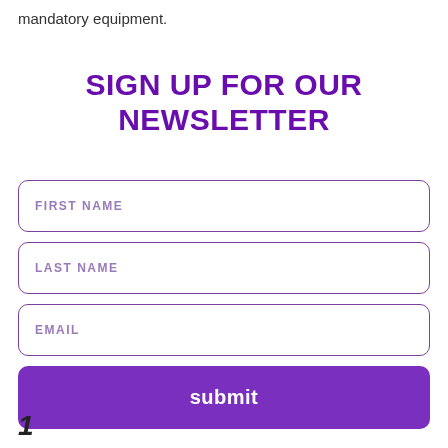mandatory equipment.
SIGN UP FOR OUR NEWSLETTER
FIRST NAME
LAST NAME
EMAIL
submit
1